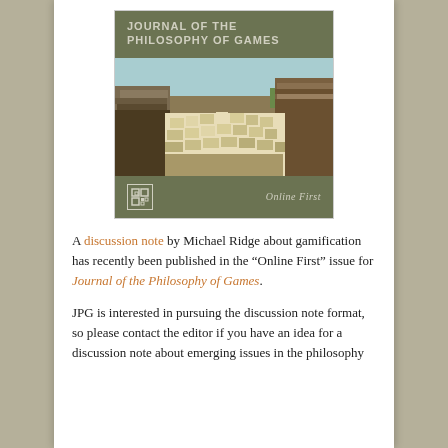[Figure (illustration): Cover of Journal of the Philosophy of Games showing a Minecraft-style landscape with blocky terrain, sandy/stone formations, and a sky background. The cover header reads 'JOURNAL OF THE PHILOSOPHY OF GAMES' in light text on an olive/green background, and the footer reads 'Online First' with a small logo on the same olive background.]
A discussion note by Michael Ridge about gamification has recently been published in the “Online First” issue for Journal of the Philosophy of Games.
JPG is interested in pursuing the discussion note format, so please contact the editor if you have an idea for a discussion note about emerging issues in the philosophy